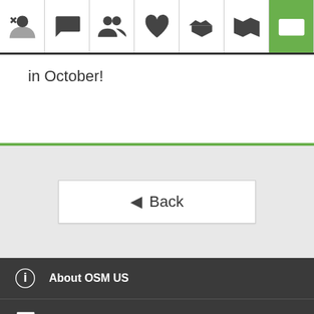[Figure (screenshot): Navigation icon bar with 7 icons: profile, chat, people, heart, handshake, map, and money (active/green)]
in October!
Back
About OSM US
Blog
Travel Grants
Membership
Community